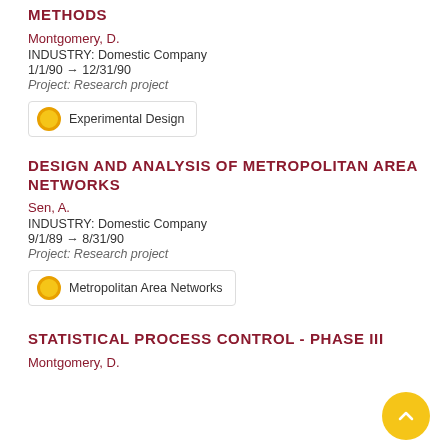METHODS
Montgomery, D.
INDUSTRY: Domestic Company
1/1/90 → 12/31/90
Project: Research project
Experimental Design
DESIGN AND ANALYSIS OF METROPOLITAN AREA NETWORKS
Sen, A.
INDUSTRY: Domestic Company
9/1/89 → 8/31/90
Project: Research project
Metropolitan Area Networks
STATISTICAL PROCESS CONTROL - PHASE III
Montgomery, D.